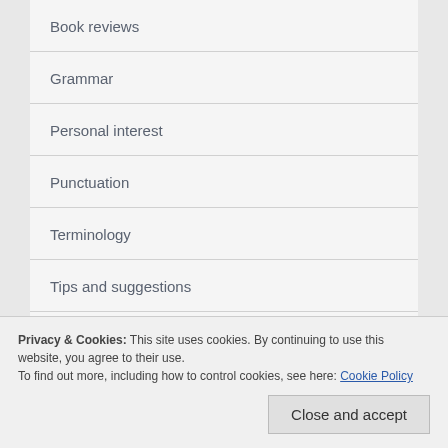Book reviews
Grammar
Personal interest
Punctuation
Terminology
Tips and suggestions
Words
Privacy & Cookies: This site uses cookies. By continuing to use this website, you agree to their use.
To find out more, including how to control cookies, see here: Cookie Policy
Close and accept